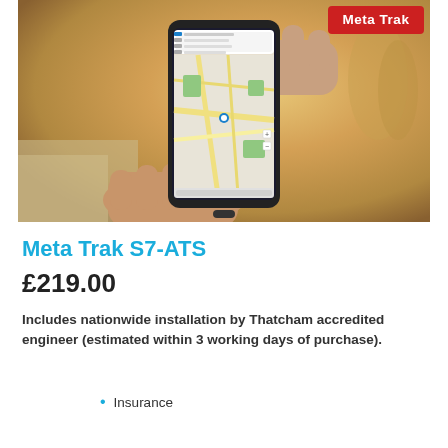[Figure (photo): Person holding a smartphone displaying a map navigation app (Meta Trak tracking interface). The Meta Trak logo badge appears in the top right corner of the image in red.]
Meta Trak S7-ATS
£219.00
Includes nationwide installation by Thatcham accredited engineer (estimated within 3 working days of purchase).
Insurance